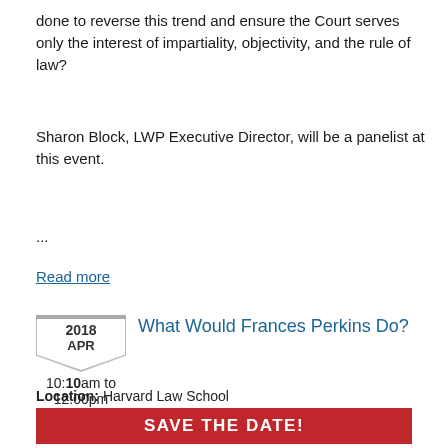done to reverse this trend and ensure the Court serves only the interest of impartiality, objectivity, and the rule of law?
Sharon Block, LWP Executive Director, will be a panelist at this event.
...
Read more
What Would Frances Perkins Do?
2018 APR 10:00am to 12:00pm
Location: Harvard Law School
[Figure (infographic): Save the Date banner for April 10, 2018, What Would Frances Perkins Do event, with Harvard seal and Frances Perkins portrait seal, red banner with white text SAVE THE DATE!, and red text April 10, 2018 below]